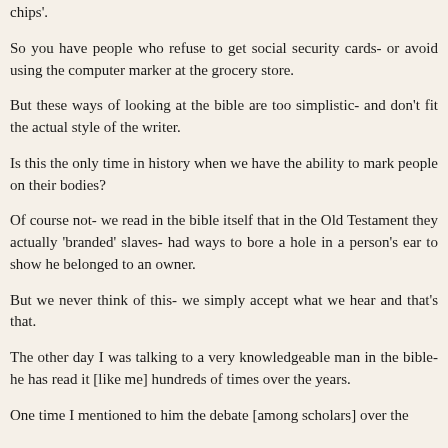chips'.
So you have people who refuse to get social security cards- or avoid using the computer marker at the grocery store.
But these ways of looking at the bible are too simplistic- and don't fit the actual style of the writer.
Is this the only time in history when we have the ability to mark people on their bodies?
Of course not- we read in the bible itself that in the Old Testament they actually 'branded' slaves- had ways to bore a hole in a person's ear to show he belonged to an owner.
But we never think of this- we simply accept what we hear and that's that.
The other day I was talking to a very knowledgeable man in the bible- he has read it [like me] hundreds of times over the years.
One time I mentioned to him the debate [among scholars] over the